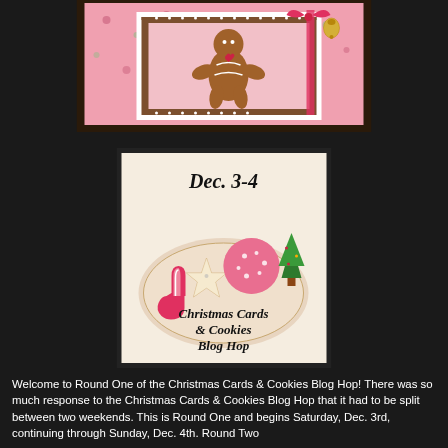[Figure (photo): A handmade Christmas card featuring a gingerbread man on a pink patterned background with red ribbon and a bell decoration.]
[Figure (illustration): Christmas Cards & Cookies Blog Hop badge showing decorated Christmas cookies (star, round, stocking shapes) on a plate with text 'Dec. 3-4' at top and 'Christmas Cards & Cookies Blog Hop' in script at bottom.]
Welcome to Round One of the Christmas Cards & Cookies Blog Hop!  There was so much response to the Christmas Cards & Cookies Blog Hop that it had to be split between two weekends. This is Round One and begins Saturday, Dec. 3rd, continuing through Sunday, Dec. 4th. Round Two